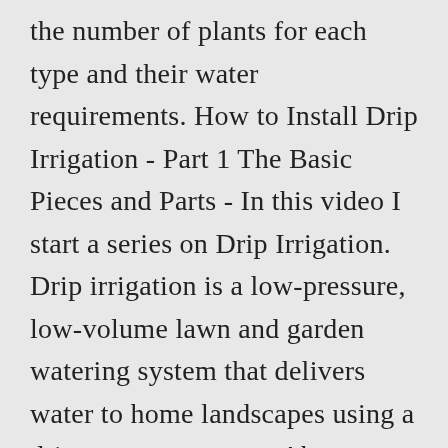the number of plants for each type and their water requirements. How to Install Drip Irrigation - Part 1 The Basic Pieces and Parts - In this video I start a series on Drip Irrigation. Drip irrigation is a low-pressure, low-volume lawn and garden watering system that delivers water to home landscapes using a drip, spray or stream. Above ground sprinkler irrigation The most common form of irrigation in our area. as trees, shrubs, ground covers and turf on separate valves. This can prove costly to replace or repair. While there are good ones, there are also things that might leave you feeling scammed or ripped off. Please download the Rain Bird Homeowner's Guide to Winterization for detailed instructions on how